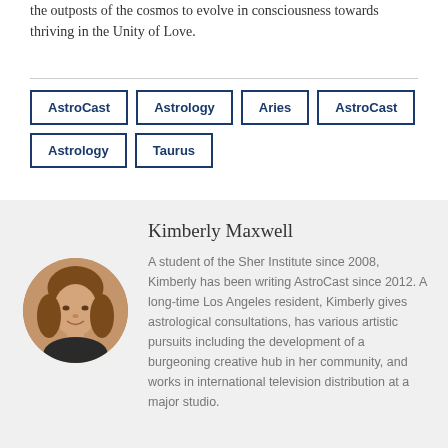the outposts of the cosmos to evolve in consciousness towards thriving in the Unity of Love.
AstroCast
Astrology
Aries
AstroCast
Astrology
Taurus
Kimberly Maxwell
A student of the Sher Institute since 2008, Kimberly has been writing AstroCast since 2012. A long-time Los Angeles resident, Kimberly gives astrological consultations, has various artistic pursuits including the development of a burgeoning creative hub in her community, and works in international television distribution at a major studio.